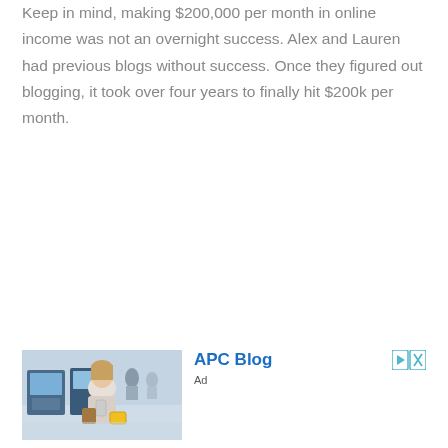Keep in mind, making $200,000 per month in online income was not an overnight success. Alex and Lauren had previous blogs without success. Once they figured out blogging, it took over four years to finally hit $200k per month.
[Figure (photo): Advertisement image showing a woman in a supermarket self-checkout area holding a product and a shopping basket, with checkout kiosks and other shoppers visible in the background.]
APC Blog
Ad